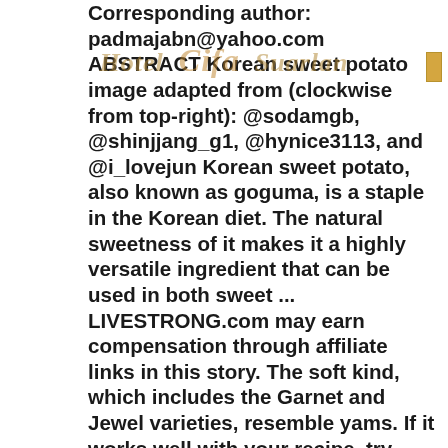Corresponding author: padmajabn@yahoo.com ABSTRACT Korean sweet potato image adapted from (clockwise from top-right): @sodamgb, @shinjjang_g1, @hynice3113, and @i_lovejun Korean sweet potato, also known as goguma, is a staple in the Korean diet. The natural sweetness of it makes it a highly versatile ingredient that can be used in both sweet ... LIVESTRONG.com may earn compensation through affiliate links in this story. The soft kind, which includes the Garnet and Jewel varieties, resemble yams. If it works well with your recipe, try leaving the skin on for some potent fiber and nutrients. And as we know, sweet potatoes are a fantastic source. As well as educating the under-nourished people in the region, Gordon formulated dietary plans to help manage medical conditions including chronic nutrition-related diseases, such as diabetes and hypertension. And it can help you feel full longer. You are always free to easily